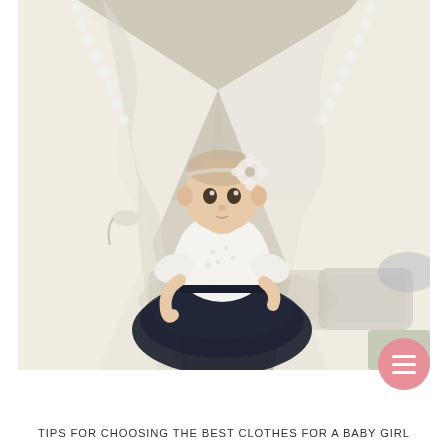[Figure (photo): A baby girl in a white top with pearl details and a layered navy blue tulle skirt, wearing a white floral headband. She sits in front of a cream-colored teepee tent with white pom-pom trim. The background shows a cozy nursery-style setting.]
TIPS FOR CHOOSING THE BEST CLOTHES FOR A BABY GIRL